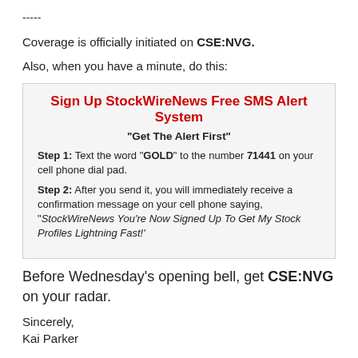-----
Coverage is officially initiated on CSE:NVG.
Also, when you have a minute, do this:
Sign Up StockWireNews Free SMS Alert System
"Get The Alert First"
Step 1: Text the word "GOLD" to the number 71441 on your cell phone dial pad.
Step 2: After you send it, you will immediately receive a confirmation message on your cell phone saying, "StockWireNews You're Now Signed Up To Get My Stock Profiles Lightning Fast!'
Before Wednesday's opening bell, get CSE:NVG on your radar.
Sincerely,
Kai Parker